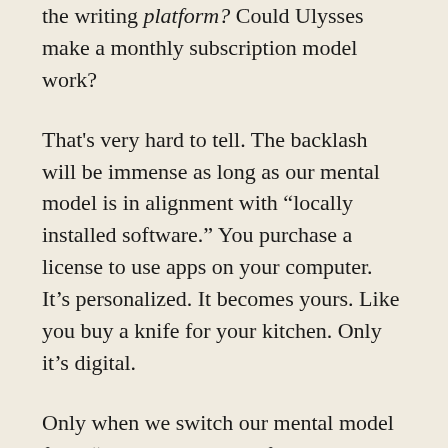the writing platform? Could Ulysses make a monthly subscription model work?
That's very hard to tell. The backlash will be immense as long as our mental model is in alignment with “locally installed software.” You purchase a license to use apps on your computer. It’s personalized. It becomes yours. Like you buy a knife for your kitchen. Only it’s digital.
Only when we switch our mental model from “locally installed software” to “cloud platform” will it be possible to justify a monthly fee.
Microsoft Office seems to do well. Adobe